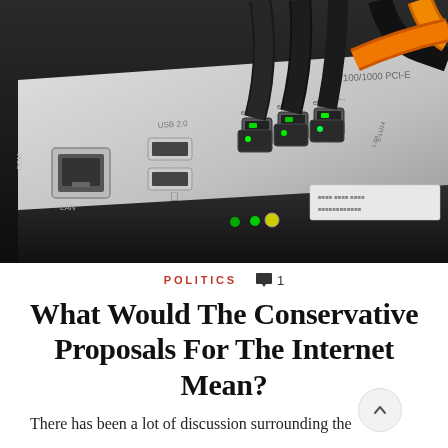[Figure (photo): Close-up photograph of a network router showing Ethernet ports (eth0, eth1, eth2), USB 2.0 ports, a LAN port, with multiple black and orange Ethernet cables plugged in. Labels visible include '10/100/1000 PCI-E'. Green LED indicator lights are visible on the ports and on the front of the router.]
POLITICS  💬 1
What Would The Conservative Proposals For The Internet Mean?
There has been a lot of discussion surrounding the